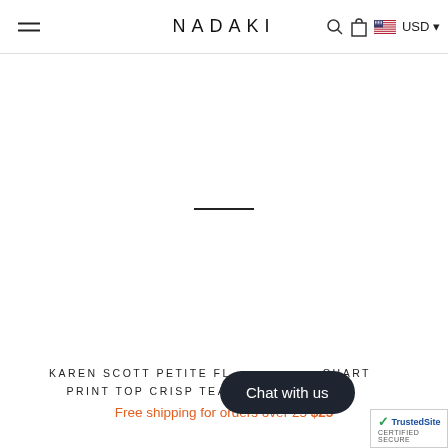NADAKI — navigation header with hamburger menu, search icon, bag icon, USD currency selector
[Figure (other): Large white product image area with a short horizontal dash/separator line in the center, indicating image loading or placeholder]
KAREN SCOTT PETITE FL... CHART PRINT TOP CRISP TEA... DOUBL... UNIC...
Chat with us
Free shipping for orders over 25 $25
[Figure (logo): TrustedSite CERTIFIED SECURE badge in bottom right corner]